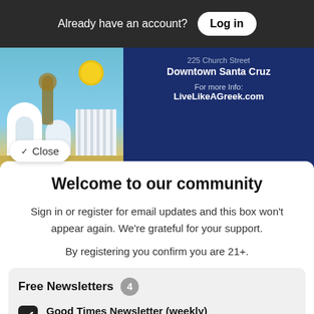Already have an account? Log in
[Figure (illustration): Greek festival advertisement banner showing illustrated Greek architecture (domed buildings, columns) with a lute/bouzouki instrument and sun, over blue sky. Text: 225 Church Street, Downtown Santa Cruz. For more Info: LiveLikeAGreek.com. Friday 5:00 pm - 10:00 pm]
Close
Welcome to our community
Sign in or register for email updates and this box won't appear again. We're grateful for your support.
By registering you confirm you are 21+.
Free Newsletters 4
Good Times Newsletter (weekly)
News stories, arts and dining